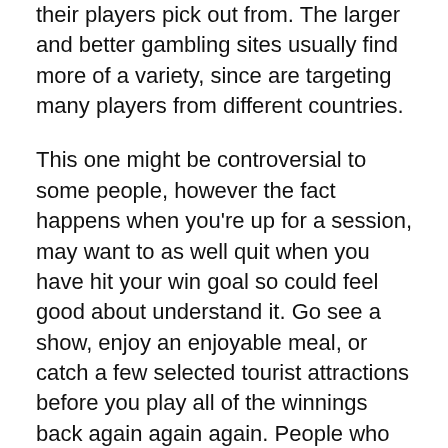their players pick out from. The larger and better gambling sites usually find more of a variety, since are targeting many players from different countries.
This one might be controversial to some people, however the fact happens when you’re up for a session, may want to as well quit when you have hit your win goal so could feel good about understand it. Go see a show, enjoy an enjoyable meal, or catch a few selected tourist attractions before you play all of the winnings back again again again. People who win quit when they’re ahead.
As obtain tell, an extremely very little skill involved in pachinko, specifically in the